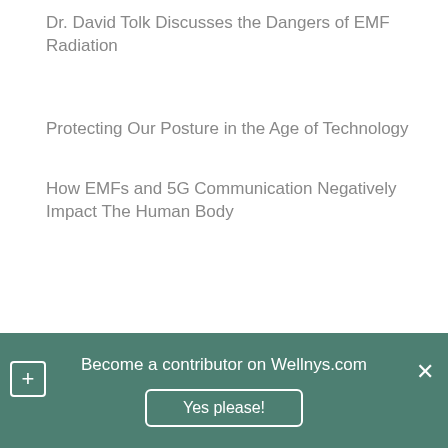Dr. David Tolk Discusses the Dangers of EMF Radiation
Protecting Our Posture in the Age of Technology
How EMFs and 5G Communication Negatively Impact The Human Body
Become a contributor on Wellnys.com
Yes please!